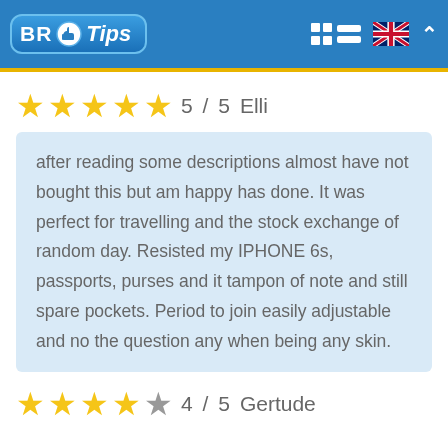BR Tips
5 / 5   Elli
after reading some descriptions almost have not bought this but am happy has done. It was perfect for travelling and the stock exchange of random day. Resisted my IPHONE 6s, passports, purses and it tampon of note and still spare pockets. Period to join easily adjustable and no the question any when being any skin.
4 / 5   Gertude